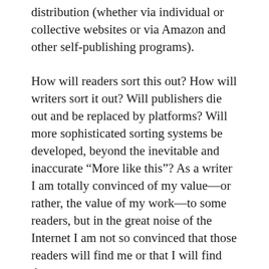distribution (whether via individual or collective websites or via Amazon and other self-publishing programs).
How will readers sort this out? How will writers sort it out? Will publishers die out and be replaced by platforms? Will more sophisticated sorting systems be developed, beyond the inevitable and inaccurate “More like this”? As a writer I am totally convinced of my value—or rather, the value of my work—to some readers, but in the great noise of the Internet I am not so convinced that those readers will find me or that I will find them.
I am also concerned about exploring new ways of reading and integrating material. William Gibson has sometimes described himself as a collage artist, and I think the changing nature of prose, influenced by hypertextual communication